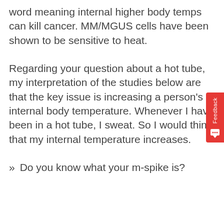word meaning internal higher body temps can kill cancer. MM/MGUS cells have been shown to be sensitive to heat.
Regarding your question about a hot tube, my interpretation of the studies below are that the key issue is increasing a person's internal body temperature. Whenever I have been in a hot tube, I sweat. So I would think that my internal temperature increases.
Do you know what your m-spike is?